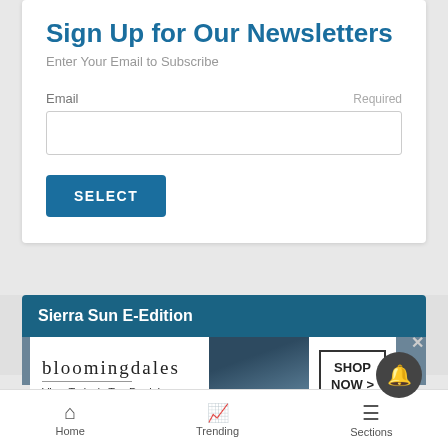Sign Up for Our Newsletters
Enter Your Email to Subscribe
Email   Required
SELECT
Sierra Sun E-Edition
[Figure (screenshot): Bloomingdale's advertisement banner: 'bloomingdales View Today's Top Deals!' with a woman in a hat and 'SHOP NOW >' button]
Home   Trending   Sections